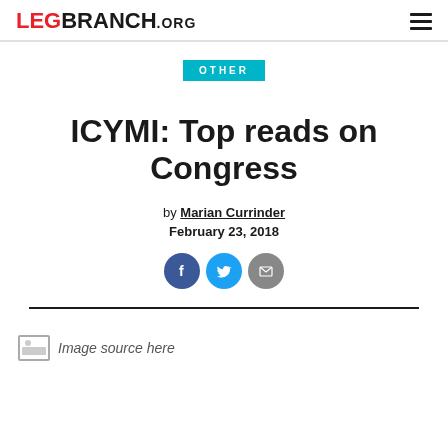LEGBRANCH.ORG
OTHER
ICYMI: Top reads on Congress
by Marian Currinder
February 23, 2018
[Figure (other): Social sharing icons: Facebook, Twitter, Email]
[Figure (photo): Image source here]